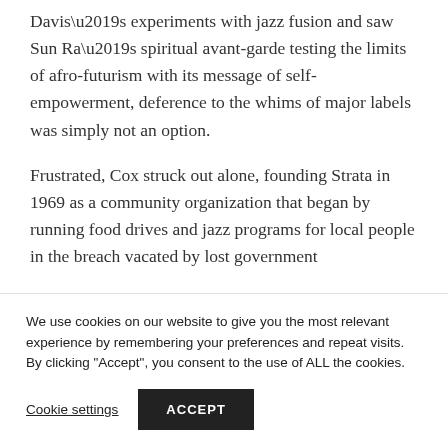Davis’s experiments with jazz fusion and saw Sun Ra’s spiritual avant-garde testing the limits of afro-futurism with its message of self-empowerment, deference to the whims of major labels was simply not an option.
Frustrated, Cox struck out alone, founding Strata in 1969 as a community organization that began by running food drives and jazz programs for local people in the breach vacated by lost government
We use cookies on our website to give you the most relevant experience by remembering your preferences and repeat visits. By clicking “Accept”, you consent to the use of ALL the cookies.
Cookie settings
ACCEPT